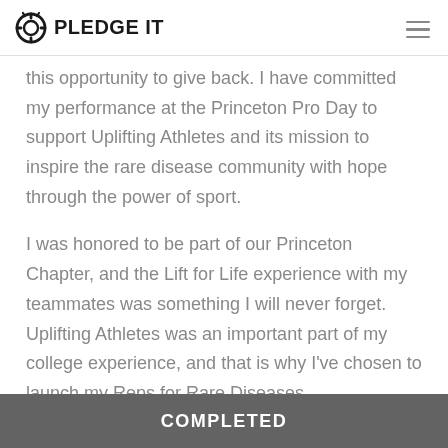PLEDGE IT
this opportunity to give back. I have committed my performance at the Princeton Pro Day to support Uplifting Athletes and its mission to inspire the rare disease community with hope through the power of sport.
I was honored to be part of our Princeton Chapter, and the Lift for Life experience with my teammates was something I will never forget. Uplifting Athletes was an important part of my college experience, and that is why I've chosen to launch my Reps for Rare Diseases
COMPLETED